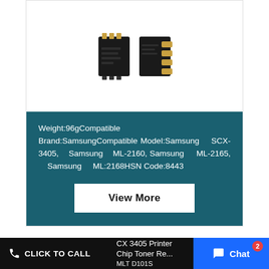[Figure (photo): Two small black printer toner chip modules side by side on a white background]
Weight:96gCompatible Brand:SamsungCompatible Model:Samsung SCX-3405, Samsung ML-2160, Samsung ML-2165, Samsung ML:2168HSN Code:8443
View More
CLICK TO CALL   CX 3405 Printer Chip Toner Re...   MLT D101S   Chat  2